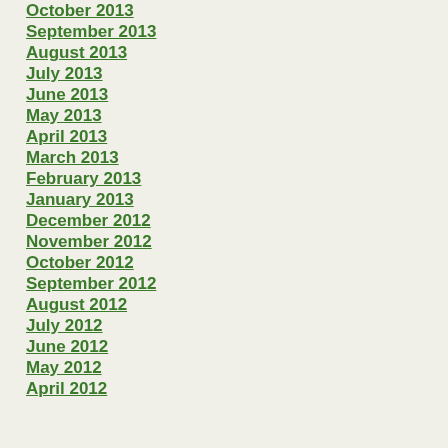October 2013
September 2013
August 2013
July 2013
June 2013
May 2013
April 2013
March 2013
February 2013
January 2013
December 2012
November 2012
October 2012
September 2012
August 2012
July 2012
June 2012
May 2012
April 2012